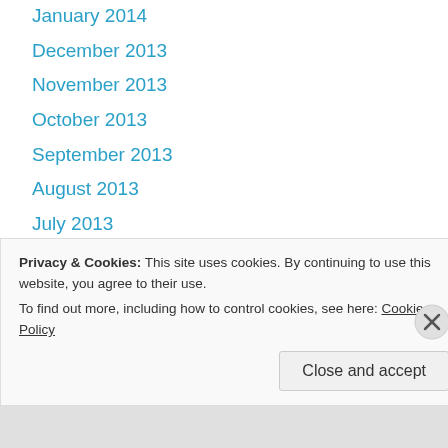January 2014
December 2013
November 2013
October 2013
September 2013
August 2013
July 2013
June 2013
May 2013
April 2013
Privacy & Cookies: This site uses cookies. By continuing to use this website, you agree to their use. To find out more, including how to control cookies, see here: Cookie Policy
Close and accept